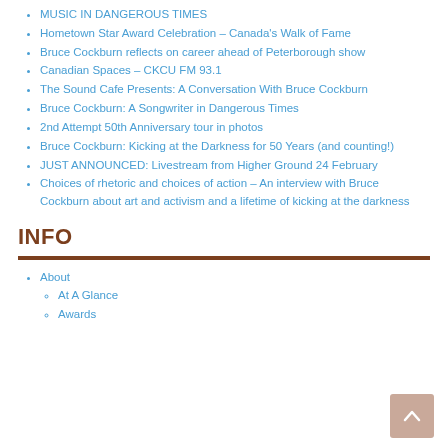MUSIC IN DANGEROUS TIMES
Hometown Star Award Celebration – Canada's Walk of Fame
Bruce Cockburn reflects on career ahead of Peterborough show
Canadian Spaces – CKCU FM 93.1
The Sound Cafe Presents: A Conversation With Bruce Cockburn
Bruce Cockburn: A Songwriter in Dangerous Times
2nd Attempt 50th Anniversary tour in photos
Bruce Cockburn: Kicking at the Darkness for 50 Years (and counting!)
JUST ANNOUNCED: Livestream from Higher Ground 24 February
Choices of rhetoric and choices of action – An interview with Bruce Cockburn about art and activism and a lifetime of kicking at the darkness
INFO
About
At A Glance
Awards